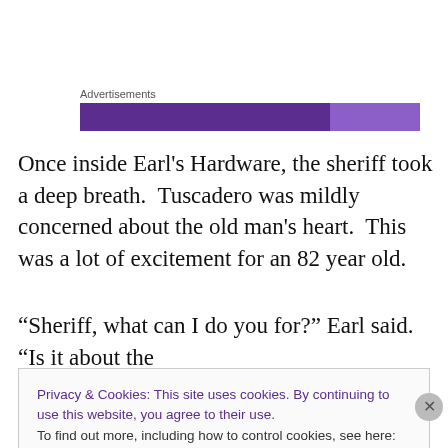[Figure (other): Advertisement banner with dark purple and lighter purple sections]
Once inside Earl's Hardware, the sheriff took a deep breath.  Tuscadero was mildly concerned about the old man's heart.  This was a lot of excitement for an 82 year old.
“Sheriff, what can I do you for?” Earl said.  “Is it about the
Privacy & Cookies: This site uses cookies. By continuing to use this website, you agree to their use.
To find out more, including how to control cookies, see here: Cookie Policy
Close and accept